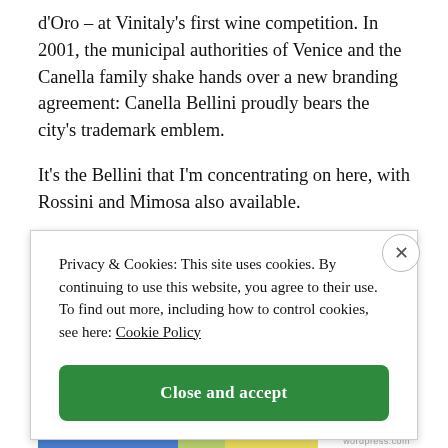d'Oro – at Vinitaly's first wine competition. In 2001, the municipal authorities of Venice and the Canella family shake hands over a new branding agreement: Canella Bellini proudly bears the city's trademark emblem.
It's the Bellini that I'm concentrating on here, with Rossini and Mimosa also available.
The bottle contains two parts sparkling wine, one part
Privacy & Cookies: This site uses cookies. By continuing to use this website, you agree to their use.
To find out more, including how to control cookies, see here: Cookie Policy
Close and accept